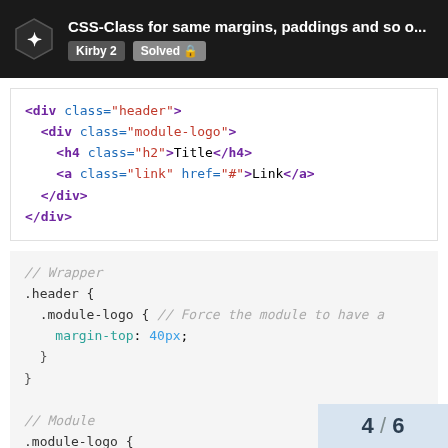CSS-Class for same margins, paddings and so o... | Kirby 2 | Solved
[Figure (screenshot): HTML code block showing div.header with nested div.module-logo containing h4 and a elements]
[Figure (screenshot): CSS code block showing .header wrapper with .module-logo margin-top: 40px and .module-logo .link background: red]
4 / 6